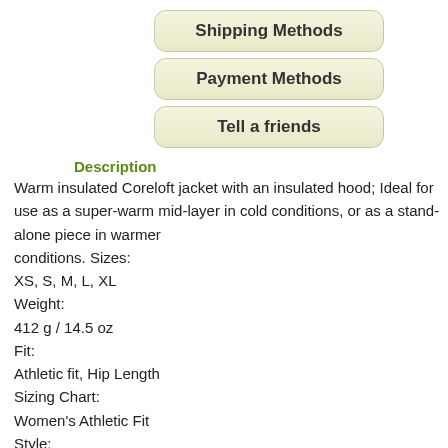[Figure (screenshot): Button labeled 'Shipping Methods' with rounded rectangle style]
[Figure (screenshot): Button labeled 'Payment Methods' with rounded rectangle style]
[Figure (screenshot): Button labeled 'Tell a friends' with rounded rectangle style]
Description
Warm insulated Coreloft jacket with an insulated hood; Ideal for use as a super-warm mid-layer in cold conditions, or as a stand-alone piece in warmer conditions. Sizes:
XS, S, M, L, XL
Weight:
412 g / 14.5 oz
Fit:
Athletic fit, Hip Length
Sizing Chart:
Women's Athletic Fit
Style:
Jackets Insulated Shell